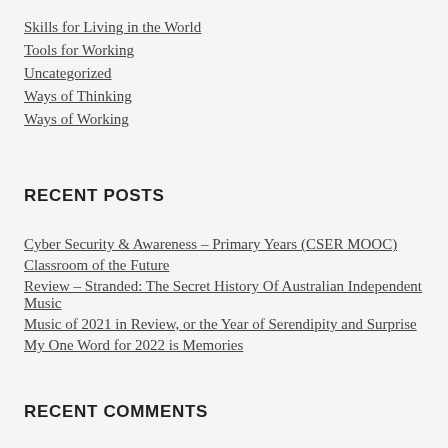Skills for Living in the World
Tools for Working
Uncategorized
Ways of Thinking
Ways of Working
RECENT POSTS
Cyber Security & Awareness – Primary Years (CSER MOOC)
Classroom of the Future
Review – Stranded: The Secret History Of Australian Independent Music
Music of 2021 in Review, or the Year of Serendipity and Surprise
My One Word for 2022 is Memories
RECENT COMMENTS